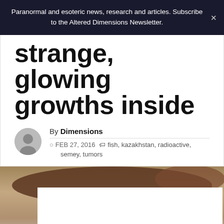Paranormal and esoteric news, research and articles. Subscribe to the Altered Dimensions Newsletter.
strange, glowing growths inside
By Dimensions
FEB 27, 2016  fish, kazakhstan, radioactive, semey, tumors
[Figure (photo): Photo of a fish with dark reddish-brown coloring against a light background, with a white overlay card partially obscuring the lower portion]